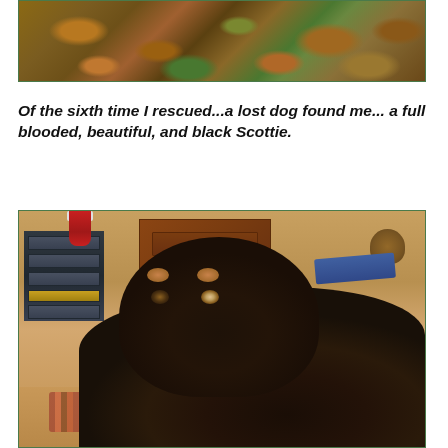[Figure (photo): Photo of autumn leaves and foliage, partially cropped at top of page]
Of the sixth time I rescued...a lost dog found me... a full blooded, beautiful, and black Scottie.
[Figure (photo): Photo of a black dog with tan eyebrow markings resting its head near the camera, in a living room with a wooden dresser, electronics, and a laptop visible in the background]